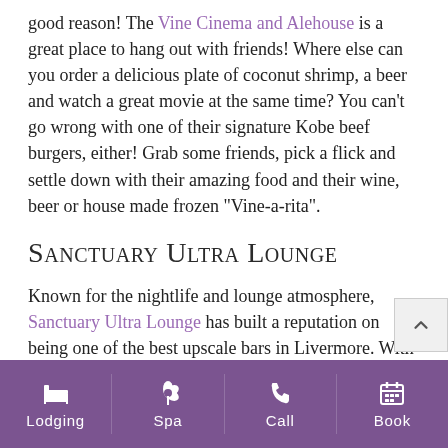good reason! The Vine Cinema and Alehouse is a great place to hang out with friends! Where else can you order a delicious plate of coconut shrimp, a beer and watch a great movie at the same time? You can't go wrong with one of their signature Kobe beef burgers, either! Grab some friends, pick a flick and settle down with their amazing food and their wine, beer or house made frozen “Vine-a-rita”.
Sanctuary Ultra Lounge
Known for the nightlife and lounge atmosphere, Sanctuary Ultra Lounge has built a reputation on being one of the best upscale bars in Livermore. With frequent live music, comedy shows and live DJs, Sanctuary has something different almost every night of the week! Be sure to check their entertainment schedule for the day’s events and special drinks and food. With state-of-the-Art...
Lodging | Spa | Call | Book